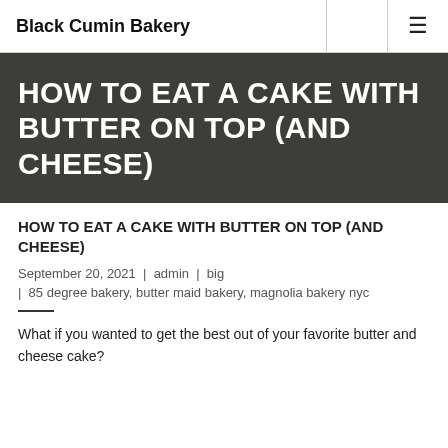Black Cumin Bakery
HOW TO EAT A CAKE WITH BUTTER ON TOP (AND CHEESE)
HOW TO EAT A CAKE WITH BUTTER ON TOP (AND CHEESE)
September 20, 2021 | admin | big
| 85 degree bakery, butter maid bakery, magnolia bakery nyc
What if you wanted to get the best out of your favorite butter and cheese cake?